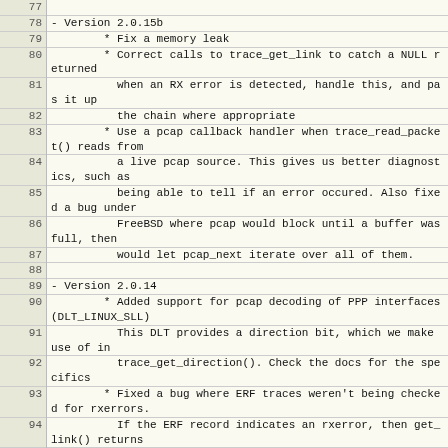| Line | Code |
| --- | --- |
| 77 |  |
| 78 | - Version 2.0.15b |
| 79 |         * Fix a memory leak |
| 80 |         * Correct calls to trace_get_link to catch a NULL returned |
| 81 |           when an RX error is detected, handle this, and pas it up |
| 82 |           the chain where appropriate |
| 83 |         * Use a pcap callback handler when trace_read_packet() reads from |
| 84 |           a live pcap source. This gives us better diagnostics, such as |
| 85 |           being able to tell if an error occured. Also fixed a bug under |
| 86 |           FreeBSD where pcap would block until a buffer was full, then |
| 87 |           would let pcap_next iterate over all of them. |
| 88 |  |
| 89 | - Version 2.0.14 |
| 90 |         * Added support for pcap decoding of PPP interfaces (DLT_LINUX_SLL) |
| 91 |           This DLT provides a direction bit, which we make use of in |
| 92 |           trace_get_direction(). Check the docs for the specifics |
| 93 |         * Fixed a bug where ERF traces weren't being checked for rxerrors. |
| 94 |           If the ERF record indicates an rxerror, then get_link() returns |
| 95 |           NULL. |
| 96 |         * Removed an extra , which was preventing compilation under gcc 3.4 |
| 97 |           in FreeBSD |
| 98 |  |